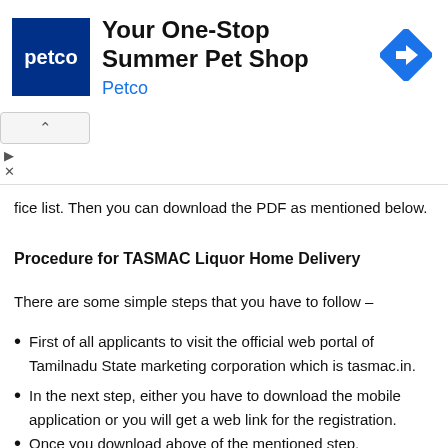[Figure (other): Petco advertisement banner with logo, headline 'Your One-Stop Summer Pet Shop', and a navigation icon]
fice list. Then you can download the PDF as mentioned below.
Procedure for TASMAC Liquor Home Delivery
There are some simple steps that you have to follow –
First of all applicants to visit the official web portal of Tamilnadu State marketing corporation which is tasmac.in.
In the next step, either you have to download the mobile application or you will get a web link for the registration.
Once you download above of the mentioned step.